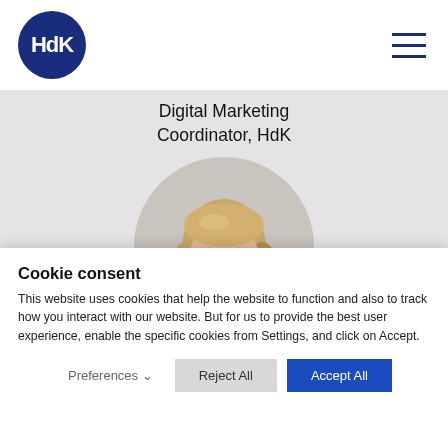HdK — Digital Marketing Coordinator, HdK
[Figure (photo): Circular profile photo of a young woman with blonde hair wearing a black turtleneck, on a light grey background.]
Cookie consent
This website uses cookies that help the website to function and also to track how you interact with our website. But for us to provide the best user experience, enable the specific cookies from Settings, and click on Accept.